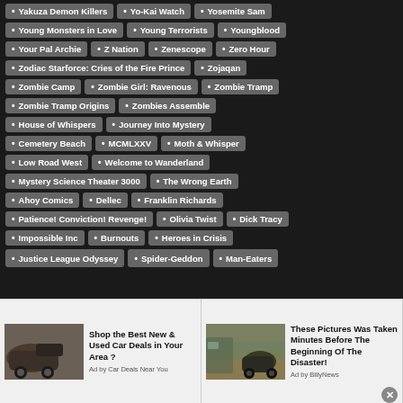Yakuza Demon Killers
Yo-Kai Watch
Yosemite Sam
Young Monsters in Love
Young Terrorists
Youngblood
Your Pal Archie
Z Nation
Zenescope
Zero Hour
Zodiac Starforce: Cries of the Fire Prince
Zojaqan
Zombie Camp
Zombie Girl: Ravenous
Zombie Tramp
Zombie Tramp Origins
Zombies Assemble
House of Whispers
Journey Into Mystery
Cemetery Beach
MCMLXXV
Moth & Whisper
Low Road West
Welcome to Wanderland
Mystery Science Theater 3000
The Wrong Earth
Ahoy Comics
Dellec
Franklin Richards
Patience! Conviction! Revenge!
Olivia Twist
Dick Tracy
Impossible Inc
Burnouts
Heroes in Crisis
Justice League Odyssey
Spider-Geddon
Man-Eaters
Shop the Best New & Used Car Deals in Your Area ? Ad by Car Deals Near You
These Pictures Was Taken Minutes Before The Beginning Of The Disaster! Ad by BillyNews